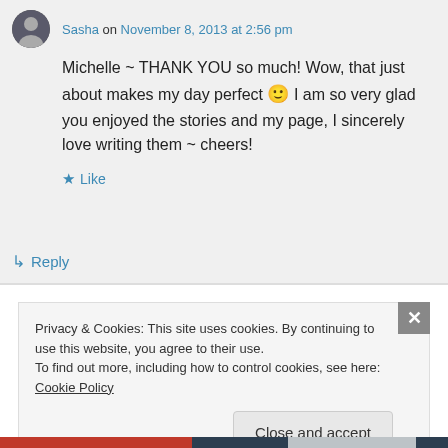Sasha on November 8, 2013 at 2:56 pm
Michelle ~ THANK YOU so much! Wow, that just about makes my day perfect 🙂 I am so very glad you enjoyed the stories and my page, I sincerely love writing them ~ cheers!
Like
Reply
Privacy & Cookies: This site uses cookies. By continuing to use this website, you agree to their use. To find out more, including how to control cookies, see here: Cookie Policy
Close and accept